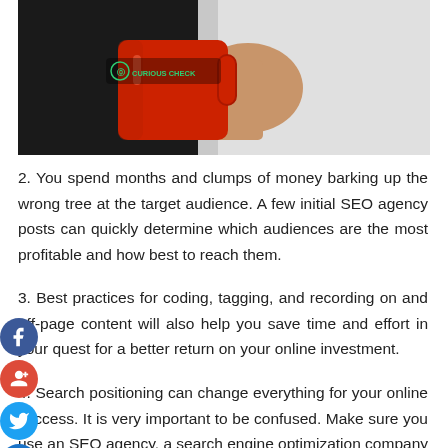[Figure (photo): Person in white shirt holding a red coffee mug against a dark background, with 'Curious Check' logo in the upper left of the image]
2. You spend months and clumps of money barking up the wrong tree at the target audience. A few initial SEO agency posts can quickly determine which audiences are the most profitable and how best to reach them.
3. Best practices for coding, tagging, and recording on and off-page content will also help you save time and effort in your quest for a better return on your online investment.
4. Search positioning can change everything for your online success. It is very important to be confused. Make sure you use an SEO agency, a search engine optimization company that has been doing this for other clients for years, to make it